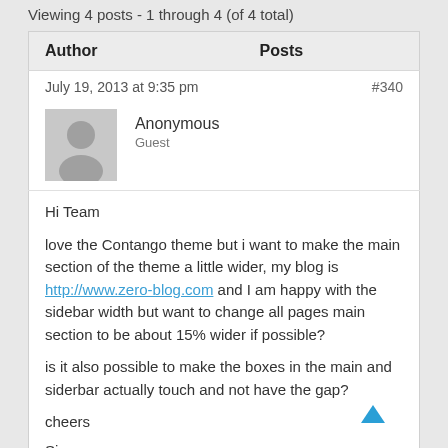Viewing 4 posts - 1 through 4 (of 4 total)
| Author | Posts |
| --- | --- |
| July 19, 2013 at 9:35 pm | #340 |
| Anonymous
Guest |  |
| Hi Team

love the Contango theme but i want to make the main section of the theme a little wider, my blog is http://www.zero-blog.com and I am happy with the sidebar width but want to change all pages main section to be about 15% wider if possible?

is it also possible to make the boxes in the main and siderbar actually touch and not have the gap?

cheers

Simon |  |